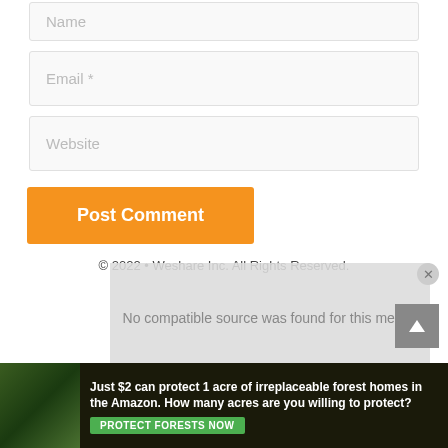[Figure (screenshot): Name input field (form element, placeholder text 'Name')]
[Figure (screenshot): Email input field (form element, placeholder text 'Email *')]
[Figure (screenshot): Website input field (form element, placeholder text 'Website')]
[Figure (screenshot): Orange 'Post Comment' button]
© 2022 • Weshare Inc. All Rights Reserved.
[Figure (screenshot): Video overlay with text: No compatible source was found for this media.]
[Figure (screenshot): Ad banner: Just $2 can protect 1 acre of irreplaceable forest homes in the Amazon. How many acres are you willing to protect? PROTECT FORESTS NOW]